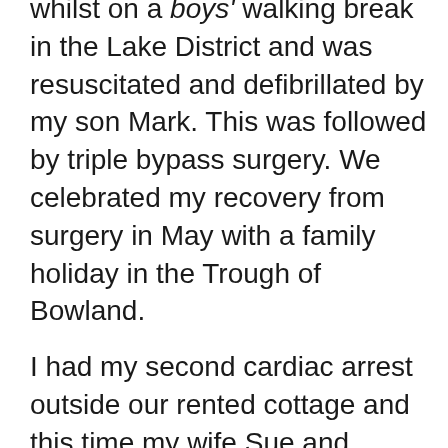whilst on a boys' walking break in the Lake District and was resuscitated and defibrillated by my son Mark. This was followed by triple bypass surgery. We celebrated my recovery from surgery in May with a family holiday in the Trough of Bowland.
I had my second cardiac arrest outside our rented cottage and this time my wife Sue and daughter Anna did the CPR for 12 minutes before the paramedics arrived. I then had surgery to fit an ICD and have remained alive and well and eternally grateful to my family.